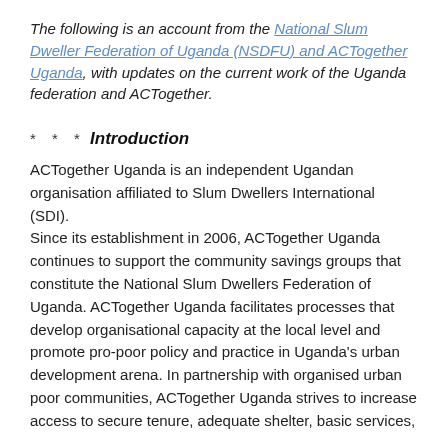The following is an account from the National Slum Dweller Federation of Uganda (NSDFU) and ACTogether Uganda, with updates on the current work of the Uganda federation and ACTogether.
* * *
Introduction
ACTogether Uganda is an independent Ugandan organisation affiliated to Slum Dwellers International (SDI). Since its establishment in 2006, ACTogether Uganda continues to support the community savings groups that constitute the National Slum Dwellers Federation of Uganda. ACTogether Uganda facilitates processes that develop organisational capacity at the local level and promote pro-poor policy and practice in Uganda's urban development arena. In partnership with organised urban poor communities, ACTogether Uganda strives to increase access to secure tenure, adequate shelter, basic services,